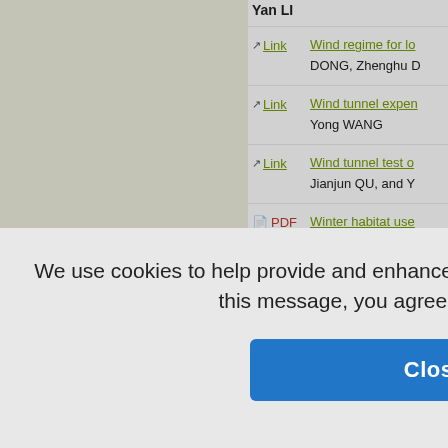Yan LI
Link | Wind regime for lo... — DONG, Zhenghu D
Link | Wind tunnel expen... — Yong WANG
Link | Wind tunnel test o... — Jianjun QU, and Y
PDF | Winter habitat use... — UE, Ming M
FAQ | MY
We use cookies to help provide and enhance our service and tailor content. By closing this message, you agree to the use of cookies.
Close